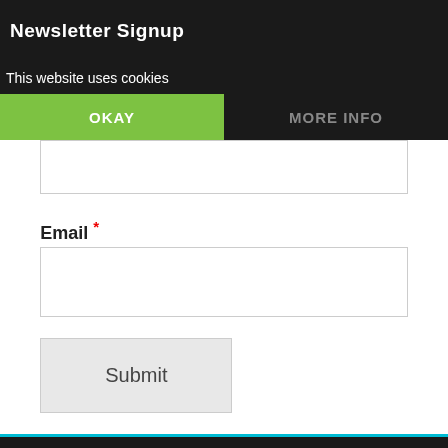Newsletter Signup
This website uses cookies
OKAY
MORE INFO
Email *
Submit
We use cookies to ensure that we give you the best experience on our website. If you continue to use this site we will assume that you are happy with it.
Ok